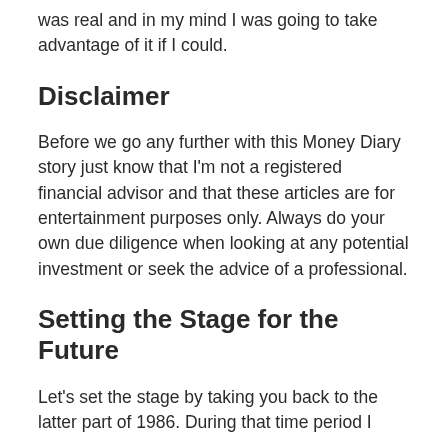was real and in my mind I was going to take advantage of it if I could.
Disclaimer
Before we go any further with this Money Diary story just know that I'm not a registered financial advisor and that these articles are for entertainment purposes only. Always do your own due diligence when looking at any potential investment or seek the advice of a professional.
Setting the Stage for the Future
Let's set the stage by taking you back to the latter part of 1986. During that time period I